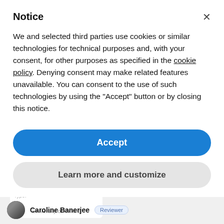Notice
We and selected third parties use cookies or similar technologies for technical purposes and, with your consent, for other purposes as specified in the cookie policy. Denying consent may make related features unavailable. You can consent to the use of such technologies by using the "Accept" button or by closing this notice.
[Figure (screenshot): Accept button — blue rounded rectangle with white bold text 'Accept']
[Figure (screenshot): Learn more and customize button — light gray rounded rectangle with dark bold text]
[Figure (screenshot): Background content showing a profile card with University of Oxford label and reviewer row with Caroline Banerjee name and Reviewer badge]